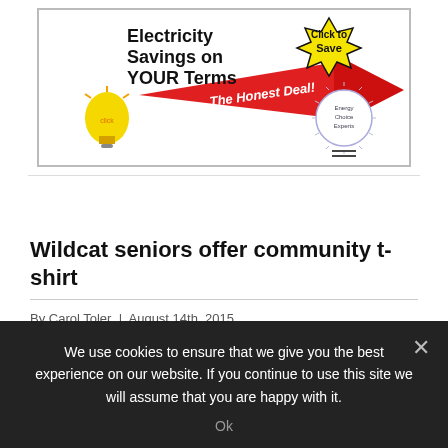[Figure (illustration): Advertisement banner: Electricity Savings on YOUR Terms. The Honest Deal! Click to Save. Features a red arrow, yellow lightbulb, yellow starburst, and Energy Choice Experts logo.]
Wildcat seniors offer community t-shirt
By Carol Toler | August 14th, 2015
We use cookies to ensure that we give you the best experience on our website. If you continue to use this site we will assume that you are happy with it.